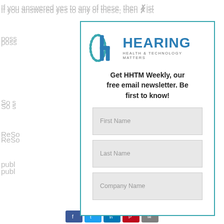If you answered yes to any of these, then ✗ ist
poss
So s
ReSo
publ
In a
class
ReSo
com
audi
* …y
[Figure (screenshot): Hearing Health & Technology Matters newsletter signup popup modal with logo, tagline 'Get HHTM Weekly, our free email newsletter. Be first to know!' and form fields for First Name, Last Name, Company Name]
hy's
[Figure (screenshot): Social media sharing buttons: Facebook, Twitter, LinkedIn, Pinterest, and email icons at the bottom of the page]